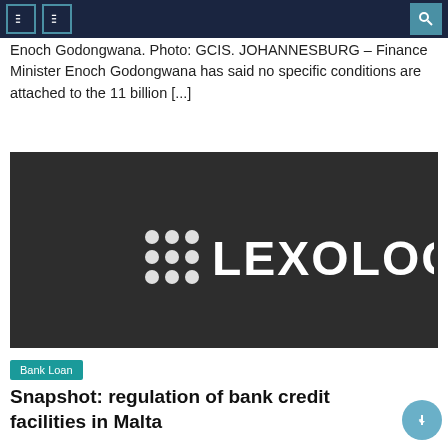Navigation header with menu icons and search
Enoch Godongwana. Photo: GCIS. JOHANNESBURG – Finance Minister Enoch Godongwana has said no specific conditions are attached to the 11 billion [...]
[Figure (logo): Lexology logo on dark background — grid of 9 dots followed by the word LEXOLOGY in white sans-serif text on a dark gray/charcoal background]
Bank Loan
Snapshot: regulation of bank credit facilities in Malta
June 29, 2021    Ruth J. Stuckey